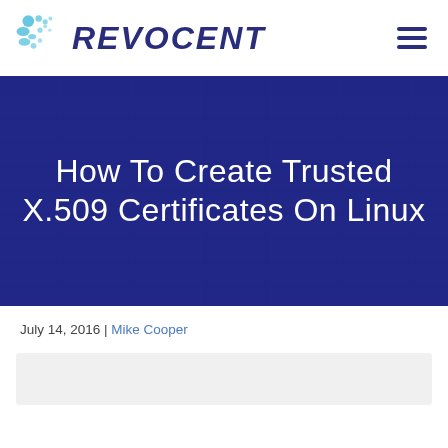[Figure (logo): Revocent logo with teal bubble graphic and dark blue italic REVOCENT text, plus hamburger menu icon]
How To Create Trusted X.509 Certificates On Linux
July 14, 2016 | Mike Cooper
[Figure (other): Light gray content box at the bottom of the page]